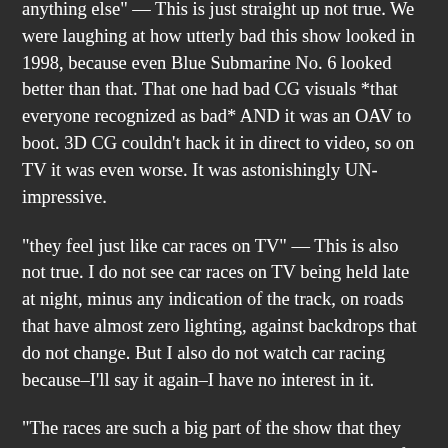anything else" — This is just straight up not true. We were laughing at how utterly bad this show looked in 1998, because even Blue Submarine No. 6 looked better than that. That one had bad CG visuals *that everyone recognized as bad* AND it was an OAV to boot. 3D CG couldn't hack it in direct to video, so on TV it was even worse. It was astonishingly UN-impressive.
"they feel just like car races on TV" — This is also not true. I do not see car races on TV being held late at night, minus any indication of the track, on roads that have almost zero lighting, against backdrops that do not change. But I also do not watch car racing because–I'll say it again–I have no interest in it.
"The races are such a big part of the show that they even made Battle Stages, which are compilations of just the races" — No, it's more